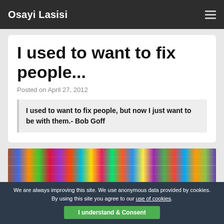Osayi Lasisi
I used to want to fix people...
Posted on April 27, 2012
I used to want to fix people, but now I just want to be with them.- Bob Goff
[Figure (photo): Colorful photo mosaic grid of many small images]
We are always improving this site. We use anonymous data provided by cookies. By using this site you agree to our use of cookies.
I understand & Consent